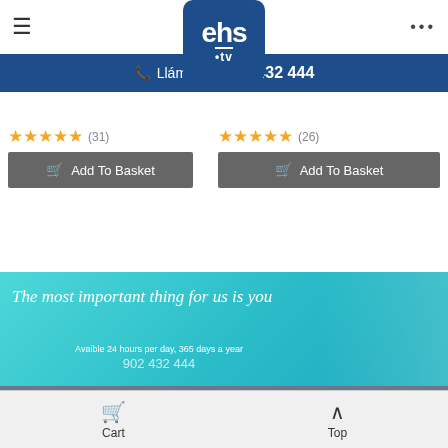[Figure (screenshot): EHS.TV logo in dark blue rounded square with white text]
Llámanos: 902 432 444
SOFT TOUCH
Face Epilator
SOFT TOUCH BROWS
Eyebrow Epilator
(31)
(26)
Add To Basket
Add To Basket
[Figure (photo): Teal banner with text 'The most important thing for us is you' and woman with shopping bags]
The most important thing for us is you
Avaible 24 hours per day, 365 days a year
902 432 444
Customize Cookies
Cart  Top